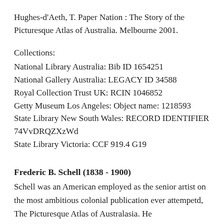Hughes-d'Aeth, T. Paper Nation : The Story of the Picturesque Atlas of Australia. Melbourne 2001.
Collections:
National Library Australia: Bib ID 1654251
National Gallery Australia: LEGACY ID 34588
Royal Collection Trust UK: RCIN 1046852
Getty Museum Los Angeles: Object name: 1218593
State Library New South Wales: RECORD IDENTIFIER 74VvDRQZXzWd
State Library Victoria: CCF 919.4 G19
Frederic B. Schell (1838 - 1900)
Schell was an American employed as the senior artist on the most ambitious colonial publication ever attempetd, The Picturesque Atlas of Australasia. He